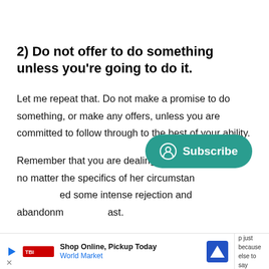2) Do not offer to do something unless you're going to do it.
Let me repeat that. Do not make a promise to do something, or make any offers, unless you are committed to follow through to the best of your ability.
Remember that you are dealing with a person who, no matter the specifics of her circumstances, has experienced some intense rejection and abandonment in her past.
[Figure (other): Subscribe button overlay — teal rounded pill button with a person/user icon and the text 'Subscribe']
Shop Online, Pickup Today | World Market | [ad navigation icon] | p just because / else to say